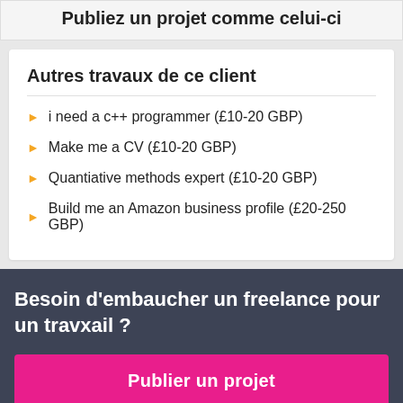Publiez un projet comme celui-ci
Autres travaux de ce client
i need a c++ programmer (£10-20 GBP)
Make me a CV (£10-20 GBP)
Quantiative methods expert (£10-20 GBP)
Build me an Amazon business profile (£20-250 GBP)
Besoin d'embaucher un freelance pour un travail ?
Publier un projet